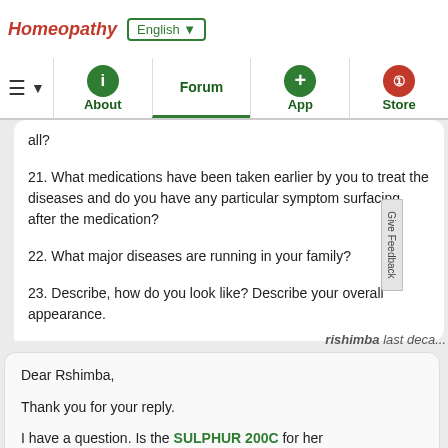Homeopathy | English ▼ | About | Forum | App | Store
all?

21. What medications have been taken earlier by you to treat the diseases and do you have any particular symptom surfacing after the medication?

22. What major diseases are running in your family?

23. Describe, how do you look like? Describe your overall appearance.
rishimba last deca...
Dear Rshimba,

Thank you for your reply.

I have a question. Is the SULPHUR 200C for her